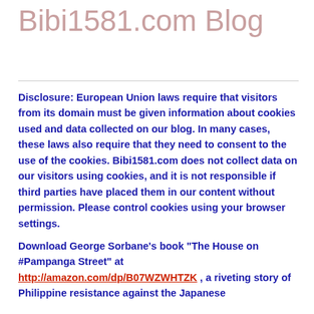Bibi1581.com Blog
Disclosure: European Union laws require that visitors from its domain must be given information about cookies used and data collected on our blog. In many cases, these laws also require that they need to consent to the use of the cookies. Bibi1581.com does not collect data on our visitors using cookies, and it is not responsible if third parties have placed them in our content without permission. Please control cookies using your browser settings.
Download George Sorbane’s book “The House on #Pampanga Street” at http://amazon.com/dp/B07WZWHTZK , a riveting story of Philippine resistance against the Japanese